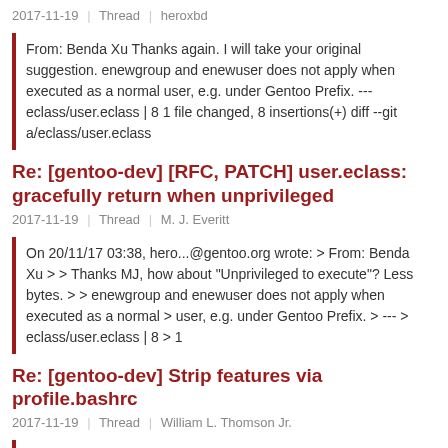2017-11-19 | Thread | heroxbd
From: Benda Xu Thanks again. I will take your original suggestion. enewgroup and enewuser does not apply when executed as a normal user, e.g. under Gentoo Prefix. --- eclass/user.eclass | 8 1 file changed, 8 insertions(+) diff --git a/eclass/user.eclass
Re: [gentoo-dev] [RFC, PATCH] user.eclass: gracefully return when unprivileged
2017-11-19 | Thread | M. J. Everitt
On 20/11/17 03:38, hero...@gentoo.org wrote: > From: Benda Xu > > Thanks MJ, how about "Unprivileged to execute"? Less bytes. > > enewgroup and enewuser does not apply when executed as a normal > user, e.g. under Gentoo Prefix. > --- > eclass/user.eclass | 8 > 1
Re: [gentoo-dev] Strip features via profile.bashrc
2017-11-19 | Thread | William L. Thomson Jr.
On Sun, 19 Nov 2017 22:27:26 -0500 Mike Gilbert wrote: > > FEATURES gets processed by portage too early for bashrc settings to > have any effect. Glad to have that confirmed, as that is what I experienced. Feel like I was in this commercial